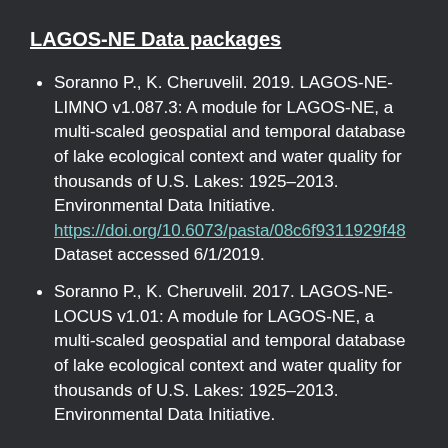LAGOS-NE Data packages
Soranno P., K. Cheruvelil. 2019. LAGOS-NE-LIMNO v1.087.3: A module for LAGOS-NE, a multi-scaled geospatial and temporal database of lake ecological context and water quality for thousands of U.S. Lakes: 1925–2013. Environmental Data Initiative. https://doi.org/10.6073/pasta/08c6f9311929f487 Dataset accessed 6/1/2019.
Soranno P., K. Cheruvelil. 2017. LAGOS-NE-LOCUS v1.01: A module for LAGOS-NE, a multi-scaled geospatial and temporal database of lake ecological context and water quality for thousands of U.S. Lakes: 1925–2013. Environmental Data Initiative.